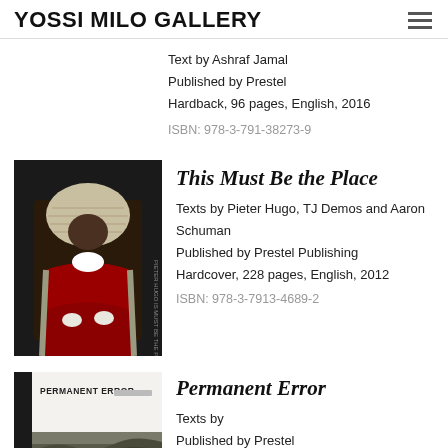YOSSI MILO GALLERY
Text by Ashraf Jamal
Published by Prestel
Hardback, 96 pages, English, 2016
ISBN: 978-3-791-38273-9
[Figure (photo): Book cover of 'This Must Be the Place' showing a person in judge's robes and wig seated in a chair]
This Must Be the Place
Texts by Pieter Hugo, TJ Demos and Aaron Schuman
Published by Prestel Publishing
Hardcover, 228 pages, English, 2012
ISBN: 978-3-7913-4689-2
[Figure (photo): Book cover of 'Permanent Error' showing white cover with title text and a landscape image at bottom]
Permanent Error
Texts by
Published by Prestel